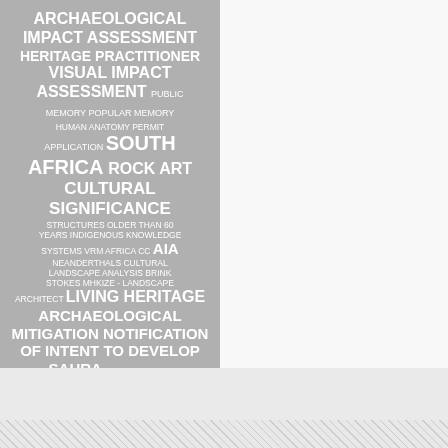[Figure (infographic): Word cloud on gray background with white text. Terms include: ARCHAEOLOGICAL IMPACT ASSESSMENT, HERITAGE PRACTITIONER, VISUAL IMPACT ASSESSMENT, PUBLIC MEMORY, POPULAR MEMORY, HUMAN ANATOMY, PERMIT APPLICATION, SOUTH AFRICA, ROCK ART, CULTURAL SIGNIFICANCE, STRUCTURES OLDER THAN 60 YEARS, INDIGENOUS KNOWLEDGE SYSTEMS, VRM AFRICA CC, AIA, NEANDERTHALS, CULTURAL LANDSCAPE ANALYSIS, BRINK STOKES MHKIZE - LANDSCAPE ARCHITECT, LIVING HERITAGE, ARCHAEOLOGICAL MITIGATION, NOTIFICATION OF INTENT TO DEVELOP, SAHRA, STANFORD VIA]